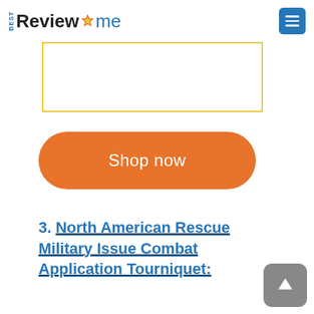BEST ReviewHome
[Figure (other): Yellow-bordered white box (product image area/placeholder)]
Shop now
3. North American Rescue Military Issue Combat Application Tourniquet: